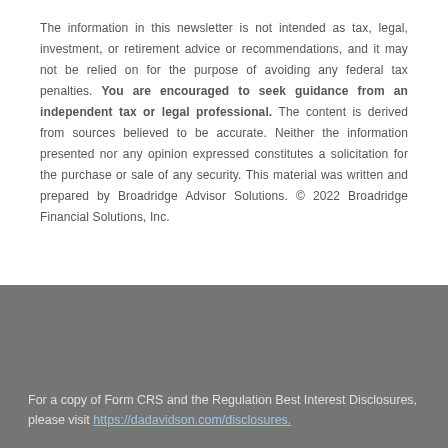The information in this newsletter is not intended as tax, legal, investment, or retirement advice or recommendations, and it may not be relied on for the purpose of avoiding any federal tax penalties. You are encouraged to seek guidance from an independent tax or legal professional. The content is derived from sources believed to be accurate. Neither the information presented nor any opinion expressed constitutes a solicitation for the purchase or sale of any security. This material was written and prepared by Broadridge Advisor Solutions. © 2022 Broadridge Financial Solutions, Inc.
For a copy of Form CRS and the Regulation Best Interest Disclosures, please visit https://dadavidson.com/disclosures.